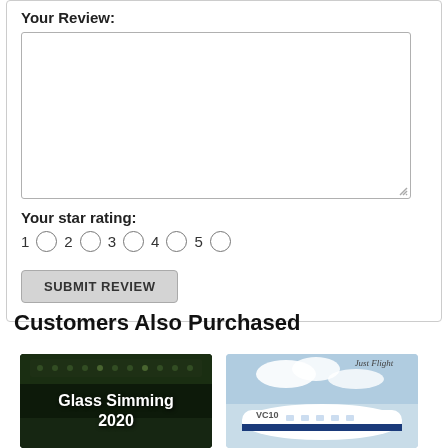Your Review:
[Figure (screenshot): Empty textarea for review input with resize handle at bottom right]
Your star rating:
1 ○ 2 ○ 3 ○ 4 ○ 5 ○
SUBMIT REVIEW
Customers Also Purchased
[Figure (screenshot): Product thumbnail showing cockpit image with text Glass Simming 2020]
[Figure (screenshot): Product thumbnail showing Just Flight airplane exterior]